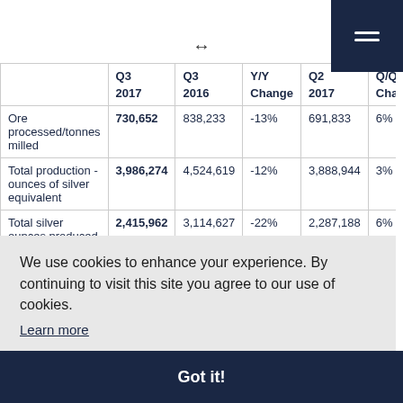|  | Q3
2017 | Q3
2016 | Y/Y
Change | Q2
2017 | Q/Q
Change |
| --- | --- | --- | --- | --- | --- |
| Ore processed/tonnes milled | 730,652 | 838,233 | -13% | 691,833 | 6% |
| Total production - ounces of silver equivalent | 3,986,274 | 4,524,619 | -12% | 3,888,944 | 3% |
| Total silver ounces produced | 2,415,962 | 3,114,627 | -22% | 2,287,188 | 6% |
| [row partially visible] |  |  |  |  | 1% |
| [row partially visible] |  |  |  |  | -1% |
| [row partially visible] |  |  |  |  | 2% |
| [row partially visible] |  |  |  | ...3 | -32% |
| [row partially visible] |  |  |  |  | 7% |
We use cookies to enhance your experience. By continuing to visit this site you agree to our use of cookies.
Learn more
Got it!